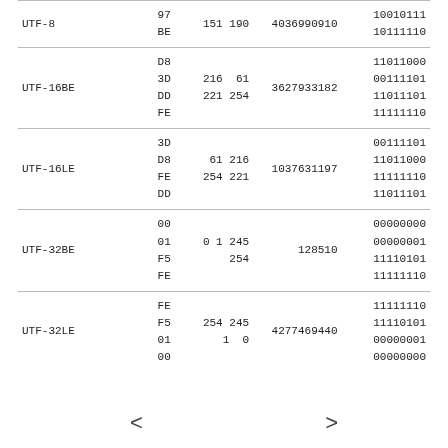| Encoding | Hex bytes | Decimal bytes | Number | Binary bytes |
| --- | --- | --- | --- | --- |
| UTF-8 | 97
BE | 151 190 | 4036990910 | 10010111
10111110 |
| UTF-16BE | D8
3D
DD
FE | 216 61
221 254 | 3627933182 | 11011000
00111101
11011101
11111110 |
| UTF-16LE | 3D
D8
FE
DD | 61 216
254 221 | 1037631197 | 00111101
11011000
11111110
11011101 |
| UTF-32BE | 00
01
F5
FE | 0 1 245
254 | 128510 | 00000000
00000001
11110101
11111110 |
| UTF-32LE | FE
F5
01
00 | 254 245
1 0 | 4277469440 | 11111110
11110101
00000001
00000000 |